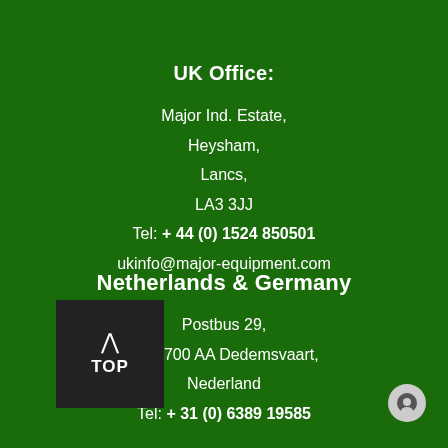UK Office:
Major Ind. Estate,
Heysham,
Lancs,
LA3 3JJ
Tel: + 44 (0) 1524 850501
ukinfo@major-equipment.com
Netherlands & Germany
Postbus 29,
NL-7700 AA Dedemsvaart,
Nederland
Tel: + 31 (0) 6389 19585